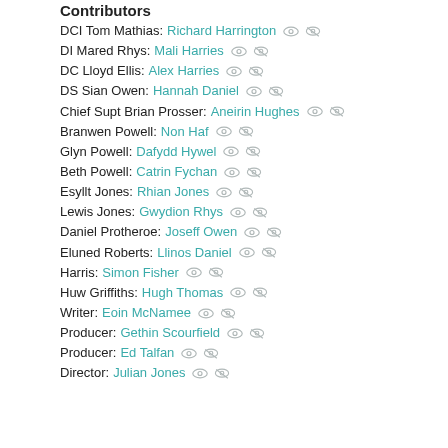Contributors
DCI Tom Mathias: Richard Harrington
DI Mared Rhys: Mali Harries
DC Lloyd Ellis: Alex Harries
DS Sian Owen: Hannah Daniel
Chief Supt Brian Prosser: Aneirin Hughes
Branwen Powell: Non Haf
Glyn Powell: Dafydd Hywel
Beth Powell: Catrin Fychan
Esyllt Jones: Rhian Jones
Lewis Jones: Gwydion Rhys
Daniel Protheroe: Joseff Owen
Eluned Roberts: Llinos Daniel
Harris: Simon Fisher
Huw Griffiths: Hugh Thomas
Writer: Eoin McNamee
Producer: Gethin Scourfield
Producer: Ed Talfan
Director: Julian Jones